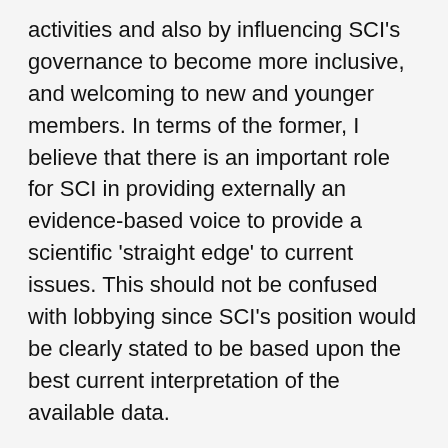activities and also by influencing SCI's governance to become more inclusive, and welcoming to new and younger members. In terms of the former, I believe that there is an important role for SCI in providing externally an evidence-based voice to provide a scientific 'straight edge' to current issues. This should not be confused with lobbying since SCI's position would be clearly stated to be based upon the best current interpretation of the available data.
I also believe that SCI can play a positive role in influencing the public's perception of the benefits of science and technology. With regard to the governance of SCI, I have pressed for greater representation on senior committees by younger members, and also by colleagues that provide additional skills. Whereas the present